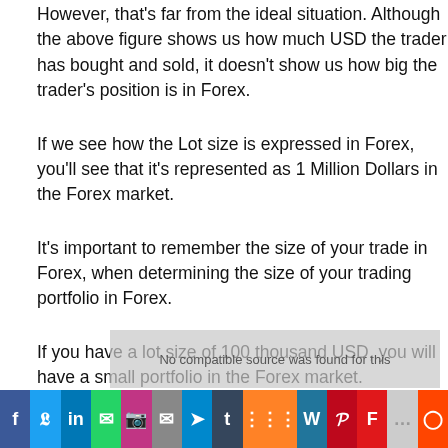However, that's far from the ideal situation. Although the above figure shows us how much USD the trader has bought and sold, it doesn't show us how big the trader's position is in Forex.
If we see how the Lot size is expressed in Forex, you'll see that it's represented as 1 Million Dollars in the Forex market.
It's important to remember the size of your trade in Forex, when determining the size of your trading portfolio in Forex.
If you have a lot size of 100 thousand USD, you will have a small portfolio in the Forex market.
[Figure (screenshot): Video overlay with text: No compatible source was found for this]
Social share bar: Facebook, Twitter, LinkedIn, WhatsApp, Instagram, Email, Telegram, Tumblr, Mix, WordPress, Pinterest, Flipboard, More, Reddit